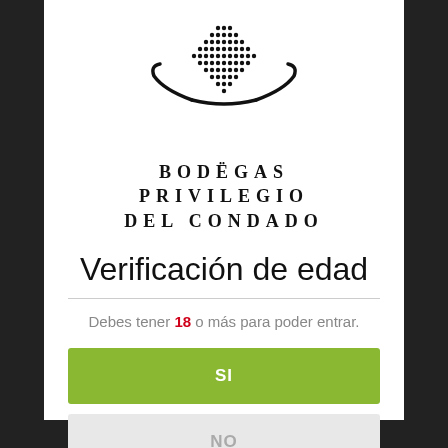[Figure (logo): Bodegas Privilegio del Condado logo with decorative grape/dots motif above stylized bull horns, and text BODEGAS PRIVILEGIO DEL CONDADO in spaced serif capitals]
Verificación de edad
Debes tener 18 o más para poder entrar.
SI
NO